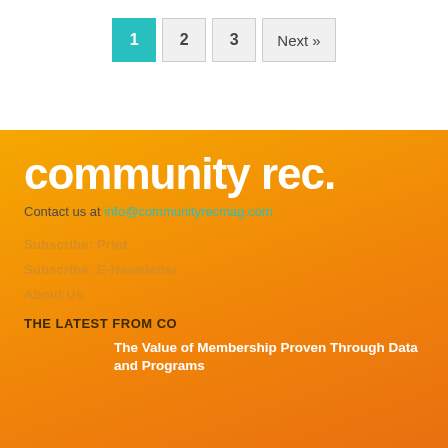1  2  3  Next »
[Figure (logo): Community Rec magazine logo in white bold rounded text on orange background]
Contact us at info@communityrecmag.com
Subscribe: Print
Subscribe: E-Newsletter
About Us
THE LATEST FROM CO
The Value of Membership Proven Through Data and Programs